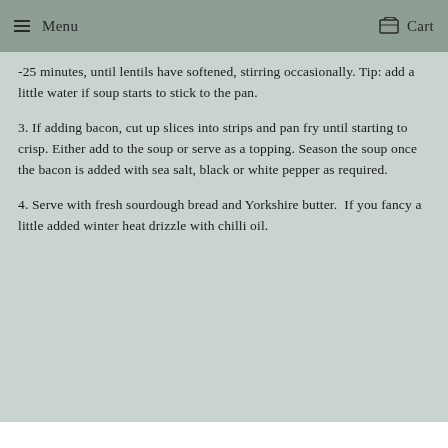Menu   Cart
-25 minutes, until lentils have softened, stirring occasionally. Tip: add a little water if soup starts to stick to the pan.
3. If adding bacon, cut up slices into strips and pan fry until starting to crisp. Either add to the soup or serve as a topping. Season the soup once the bacon is added with sea salt, black or white pepper as required.
4. Serve with fresh sourdough bread and Yorkshire butter.  If you fancy a little added winter heat drizzle with chilli oil.